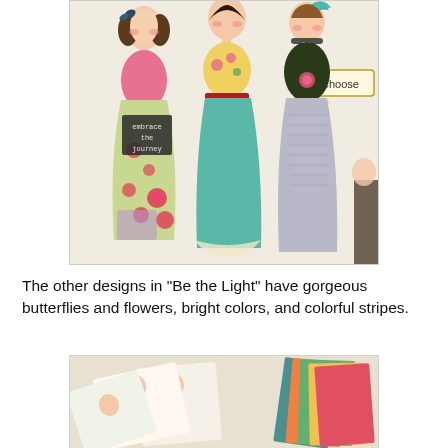[Figure (illustration): Mixed media art illustration showing three whimsical women in colorful dresses with floral patterns, butterflies, stars, and text stamps including 'embrace the journey' and 'Choose'. Collage-style artwork with soft background.]
The other designs in "Be the Light" have gorgeous butterflies and flowers, bright colors, and colorful stripes.
[Figure (photo): Photo of layered fabric pieces or quilt charm squares fanned out, featuring illustrated whimsical girl designs and the word 'dream', with colorful striped and patterned fabrics visible.]